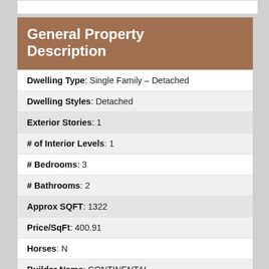General Property Description
| Field | Value |
| --- | --- |
| Dwelling Type | Single Family – Detached |
| Dwelling Styles | Detached |
| Exterior Stories | 1 |
| # of Interior Levels | 1 |
| # Bedrooms | 3 |
| # Bathrooms | 2 |
| Approx SQFT | 1322 |
| Price/SqFt | 400.91 |
| Horses | N |
| Builder Name | CONTINENTAL |